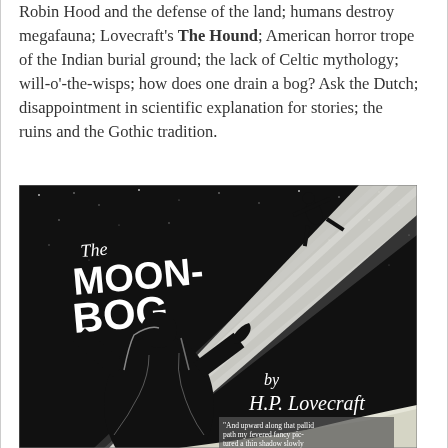Robin Hood and the defense of the land; humans destroy megafauna; Lovecraft's The Hound; American horror trope of the Indian burial ground; the lack of Celtic mythology; will-o'-the-wisps; how does one drain a bog? Ask the Dutch; disappointment in scientific explanation for stories; the ruins and the Gothic tradition.
[Figure (illustration): Black and white illustration for 'The Moon-Bog by H.P. Lovecraft'. Shows a figure with arms raised silhouetted against a moonlit beam with a leaping figure in the upper right. Text at bottom reads: 'And upward along that pallid path my fevered fancy pictured a thin shadow slowly writhing.']